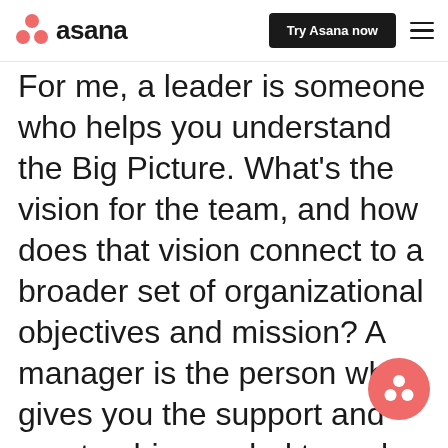asana | Try Asana now
For me, a leader is someone who helps you understand the Big Picture. What's the vision for the team, and how does that vision connect to a broader set of organizational objectives and mission? A manager is the person who gives you the support and mentorship needed to make an impact in your role and help make that Big Picture a reality. Sometimes the same person will